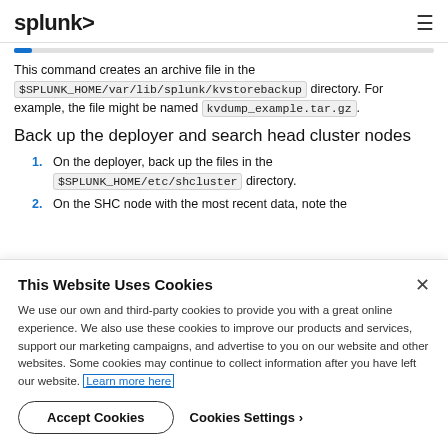splunk>
This command creates an archive file in the $SPLUNK_HOME/var/lib/splunk/kvstorebackup directory. For example, the file might be named kvdump_example.tar.gz.
Back up the deployer and search head cluster nodes
1. On the deployer, back up the files in the $SPLUNK_HOME/etc/shcluster directory.
2. On the SHC node with the most recent data, note the
This Website Uses Cookies
We use our own and third-party cookies to provide you with a great online experience. We also use these cookies to improve our products and services, support our marketing campaigns, and advertise to you on our website and other websites. Some cookies may continue to collect information after you have left our website. Learn more here
Accept Cookies   Cookies Settings ›